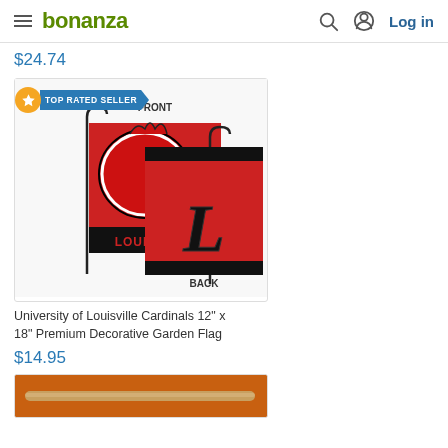bonanza — Log in
$24.74
[Figure (photo): University of Louisville Cardinals garden flag showing front (cardinal mascot on red background with LOUISVILLE text) and back (stylized L logo on red background with BACK label). TOP RATED SELLER badge in upper left.]
University of Louisville Cardinals 12" x 18" Premium Decorative Garden Flag
$14.95
[Figure (photo): Partial view of another product — orange banner/flag with wooden dowel, cropped at bottom of page.]